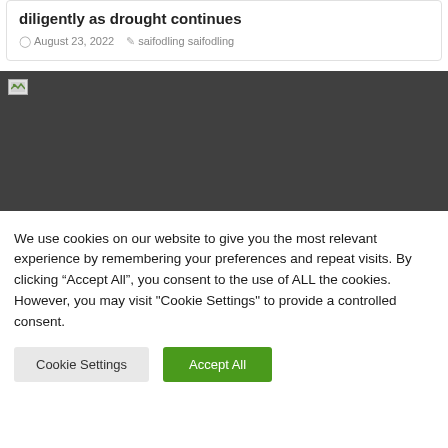diligently as drought continues
August 23, 2022   saifodling saifodling
[Figure (photo): Dark gray placeholder image with a broken image icon in the top-left corner]
We use cookies on our website to give you the most relevant experience by remembering your preferences and repeat visits. By clicking “Accept All”, you consent to the use of ALL the cookies. However, you may visit "Cookie Settings" to provide a controlled consent.